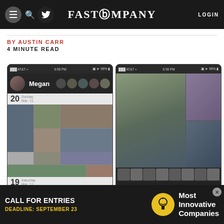FAST COMPANY  LOGIN
BY AUSTIN CARR
4 MINUTE READ
[Figure (screenshot): Two iOS app screenshots side by side showing a photo-sharing app. Left screenshot shows a contact named Megan with a grid of photos dated Mar. 20 (Sunday) and Mar. 19 (Saturday) 2011. Right screenshot shows a group photo of people with a strip of small contact photos at bottom and '1m ago' timestamp, with names 'Sally, Megan, Jeff, Peter, Jessica, Mike'.]
[Figure (screenshot): Advertisement banner: 'CALL FOR ENTRIES DEADLINE: SEPTEMBER 23' with a lightbulb icon and 'Most Innovative Companies' text on dark background]